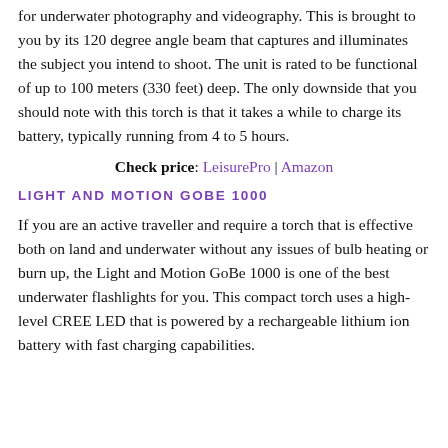for underwater photography and videography. This is brought to you by its 120 degree angle beam that captures and illuminates the subject you intend to shoot. The unit is rated to be functional of up to 100 meters (330 feet) deep. The only downside that you should note with this torch is that it takes a while to charge its battery, typically running from 4 to 5 hours.
Check price: LeisurePro | Amazon
LIGHT AND MOTION GOBE 1000
If you are an active traveller and require a torch that is effective both on land and underwater without any issues of bulb heating or burn up, the Light and Motion GoBe 1000 is one of the best underwater flashlights for you. This compact torch uses a high-level CREE LED that is powered by a rechargeable lithium ion battery with fast charging capabilities.